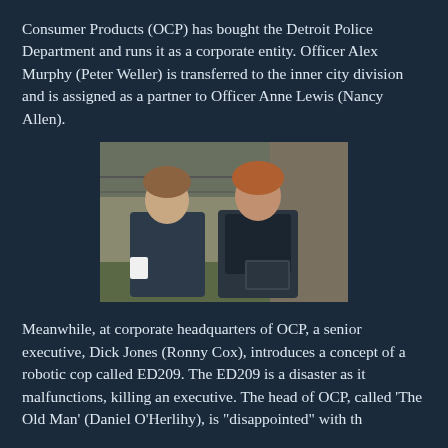Consumer Products (OCP) has bought the Detroit Police Department and runs it as a corporate entity.  Officer Alex Murphy (Peter Weller) is transferred to the inner city division and is assigned as a partner to Officer Anne Lewis (Nancy Allen).
[Figure (photo): A woman and a man in police/tactical uniforms standing outdoors against an industrial brick wall. The woman on the left has short curly hair and holds a white cup. The man on the right has reddish hair and wears a dark tactical vest, holding a book or tablet.]
Meanwhile, at corporate headquarters of OCP, a senior executive, Dick Jones (Ronny Cox), introduces a concept of a robotic cop called ED209.  The ED209 is a disaster as it malfunctions, killing an executive.  The head of OCP, called 'The Old Man' (Daniel O'Herlihy), is "disappointed" with th